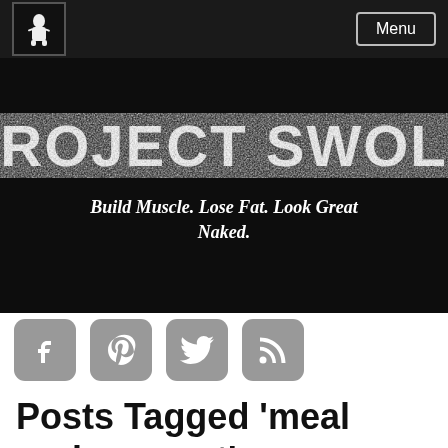Menu
[Figure (logo): Project Swole logo with bigfoot silhouette on dark background]
PROJECT SWOLE
Build Muscle. Lose Fat. Look Great Naked.
[Figure (infographic): Social media icons: Facebook, Pinterest, Twitter, RSS feed]
Posts Tagged ‘meal replacement’